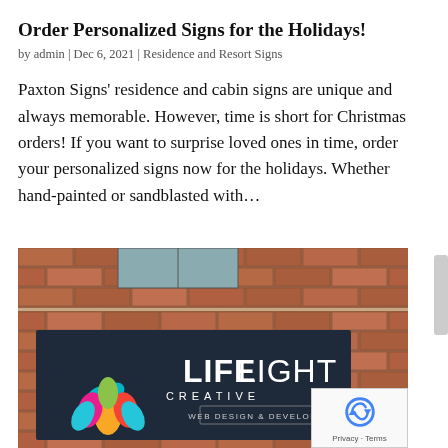Order Personalized Signs for the Holidays!
by admin | Dec 6, 2021 | Residence and Resort Signs
Paxton Signs’ residence and cabin signs are unique and always memorable. However, time is short for Christmas orders! If you want to surprise loved ones in time, order your personalized signs now for the holidays. Whether hand-painted or sandblasted with…
[Figure (photo): Photo of a dark navy business sign reading LIFE LIGHT CREATIVE WEB DESIGN & DEVELOPMENT with a colorful lotus flower logo, mounted on a red brick wall.]